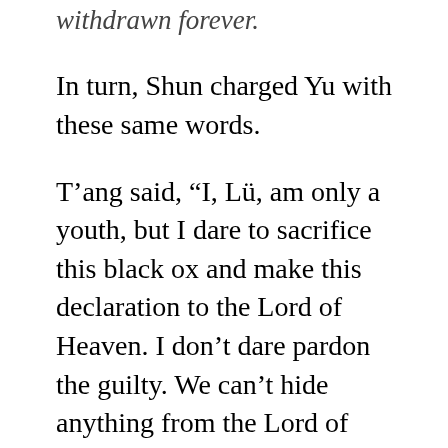withdrawn forever.
In turn, Shun charged Yu with these same words.
T'ang said, “I, Lü, am only a youth, but I dare to sacrifice this black ox and make this declaration to the Lord of Heaven. I don’t dare pardon the guilty. We can’t hide anything from the Lord of Heaven, since we’re his subjects, and guilt is known in the Lord’s heart.
“If I commit a crime, don’t make the people of the ten thousand regions suffer for it. But if the people of the ten thousand regions commit a crime, let the punishment fall to me alone.”
The Zhou was greatly rewarded because